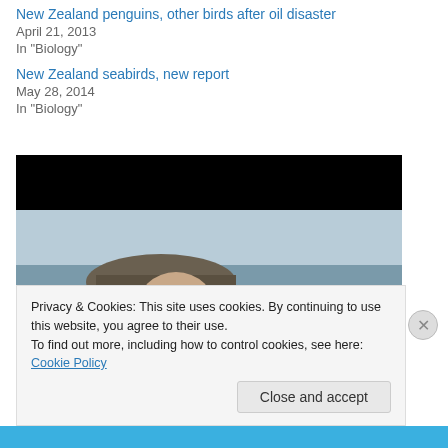New Zealand penguins, other birds after oil disaster
April 21, 2013
In "Biology"
New Zealand seabirds, new report
May 28, 2014
In "Biology"
[Figure (photo): Person photographing with a large telephoto lens on a boat at sea, black bar at top of image block]
Privacy & Cookies: This site uses cookies. By continuing to use this website, you agree to their use.
To find out more, including how to control cookies, see here: Cookie Policy
Close and accept